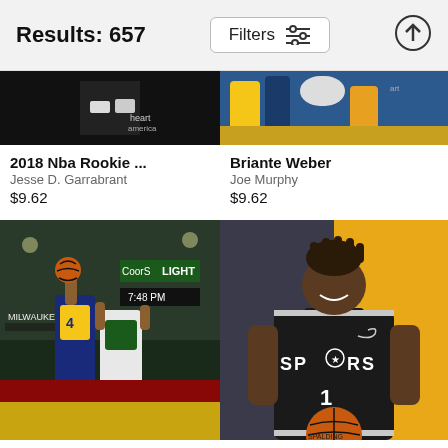Results: 657
[Figure (screenshot): Filters button with sliders icon]
[Figure (photo): Basketball game action photo, dark background, heart America text visible]
2018 Nba Rookie ...
Jesse D. Garrabrant
$9.62
[Figure (photo): Basketball player action photo, Briante Weber]
Briante Weber
Joe Murphy
$9.62
[Figure (photo): Milwaukee Bucks vs Indiana Pacers basketball game, player #4 going up for layup, Coors Light sign visible, 7:48 PM scoreboard]
[Figure (photo): San Antonio Spurs player #1 in black Spurs jersey holding Spalding basketball, yellow background]